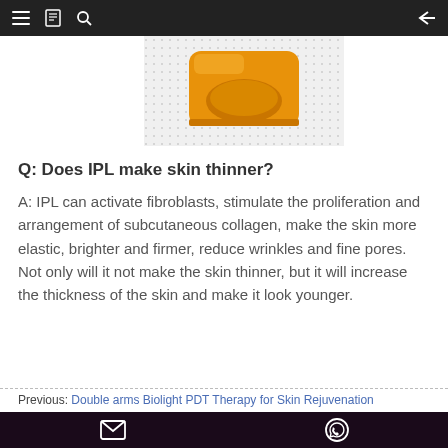≡ [book icon] [search icon] ←
[Figure (photo): Partial top view of an orange/amber colored product jar or bottle, shown against a white and light gray dotted background]
Q: Does IPL make skin thinner?
A: IPL can activate fibroblasts, stimulate the proliferation and arrangement of subcutaneous collagen, make the skin more elastic, brighter and firmer, reduce wrinkles and fine pores. Not only will it not make the skin thinner, but it will increase the thickness of the skin and make it look younger.
Previous: Double arms Biolight PDT Therapy for Skin Rejuvenation
Next: Whole Body Pain Relief CET RET Diathermy Physiotherapy Care
[mail icon] [whatsapp icon]